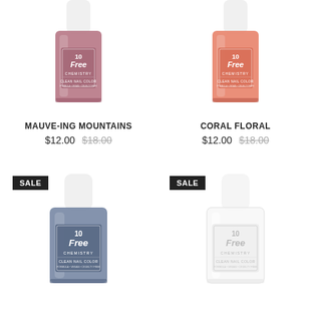[Figure (photo): Nail polish bottle - Mauve-ing Mountains, mauve/pink color, 10 Free Chemistry brand]
MAUVE-ING MOUNTAINS
$12.00  $18.00
[Figure (photo): Nail polish bottle - Coral Floral, coral/orange-pink color, 10 Free Chemistry brand]
CORAL FLORAL
$12.00  $18.00
[Figure (photo): Nail polish bottle with SALE badge - blue-grey color, 10 Free Chemistry brand]
[Figure (photo): Nail polish bottle with SALE badge - white/clear color, 10 Free Chemistry brand]